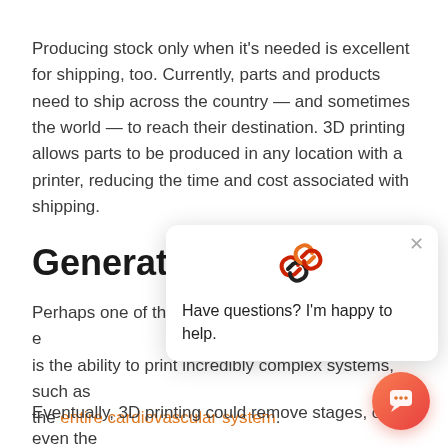Producing stock only when it's needed is excellent for shipping, too. Currently, parts and products need to ship across the country — and sometimes the world — to reach their destination. 3D printing allows parts to be produced in any location with a printer, reducing the time and cost associated with shipping.
Generating Com...
Perhaps one of the most... is the ability to print incredibly complex systems, such as the entire cardiovascular system.
Eventually, 3D printing could remove stages, or even the
[Figure (screenshot): Chat widget overlay showing a logo (chain link icon in red/orange/black), a close X button, and the text 'Have questions? I'm happy to help.' Also shows an orange chat bubble button in the bottom-right corner.]